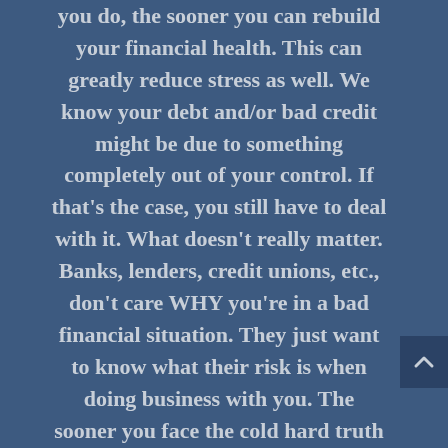you do, the sooner you can rebuild your financial health. This can greatly reduce stress as well. We know your debt and/or bad credit might be due to something completely out of your control. If that's the case, you still have to deal with it. What doesn't really matter. Banks, lenders, credit unions, etc., don't care WHY you're in a bad financial situation. They just want to know what their risk is when doing business with you. The sooner you face the cold hard truth the better off you'll be all around.